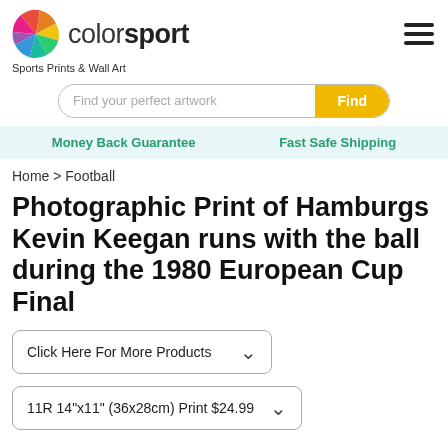[Figure (logo): Colorsport logo with colorful pinwheel icon and text 'colorsport']
Sports Prints & Wall Art
[Figure (other): Search bar with placeholder 'Find your perfect artwork' and yellow 'Find' button]
Money Back Guarantee    Fast Safe Shipping
Home > Football
Photographic Print of Hamburgs Kevin Keegan runs with the ball during the 1980 European Cup Final
Click Here For More Products
11R 14"x11" (36x28cm) Print $24.99